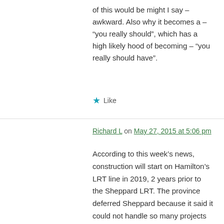of this would be might I say – awkward. Also why it becomes a – “you really should”, which has a high likely hood of becoming – “you really should have”.
★ Like
Richard L on May 27, 2015 at 5:06 pm
According to this week’s news, construction will start on Hamilton’s LRT line in 2019, 2 years prior to the Sheppard LRT. The province deferred Sheppard because it said it could not handle so many projects concurrently. Yet it could handle Hamilton’s line.
Perhaps the province is diverting resources